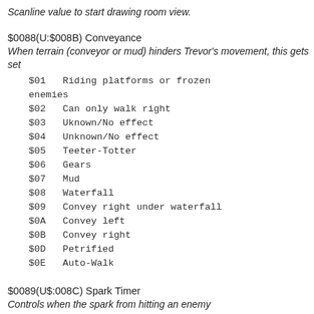Scanline value to start drawing room view.
$0088(U:$008B) Conveyance
When terrain (conveyor or mud) hinders Trevor's movement, this gets set
$01   Riding platforms or frozen enemies
$02   Can only walk right
$03   Uknown/No effect
$04   Unknown/No effect
$05   Teeter-Totter
$06   Gears
$07   Mud
$08   Waterfall
$09   Convey right under waterfall
$0A   Convey left
$0B   Convey right
$0D   Petrified
$0E   Auto-Walk
$0089(U$:008C) Spark Timer
Controls when the spark from hitting an enemy